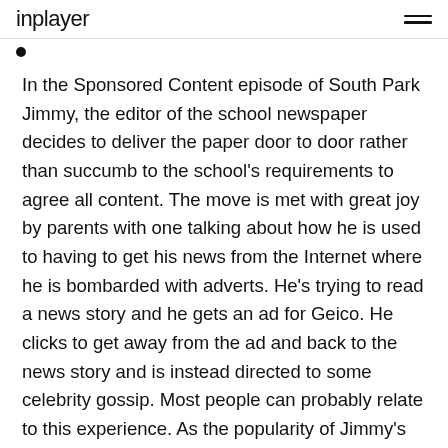inplayer
In the Sponsored Content episode of South Park Jimmy, the editor of the school newspaper decides to deliver the paper door to door rather than succumb to the school's requirements to agree all content. The move is met with great joy by parents with one talking about how he is used to having to get his news from the Internet where he is bombarded with adverts. He's trying to read a news story and he gets an ad for Geico. He clicks to get away from the ad and back to the news story and is instead directed to some celebrity gossip. Most people can probably relate to this experience. As the popularity of Jimmy's newspaper grows, so he is approached to write sponsored content for Geico and is offered $26